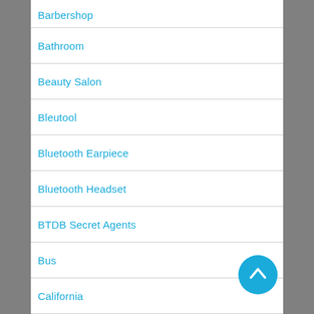Barbershop
Bathroom
Beauty Salon
Bleutool
Bluetooth Earpiece
Bluetooth Headset
BTDB Secret Agents
Bus
California
Canada
Car
[Figure (illustration): Blue circular FAB button with upward chevron arrow]